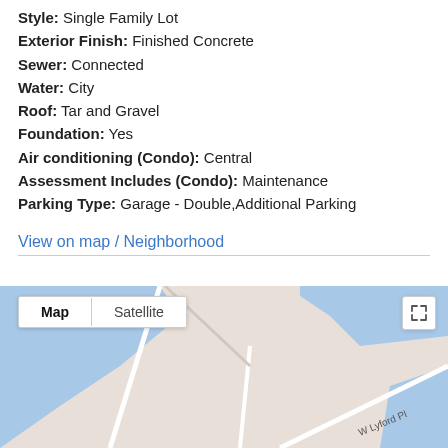Style: Single Family Lot
Exterior Finish: Finished Concrete
Sewer: Connected
Water: City
Roof: Tar and Gravel
Foundation: Yes
Air conditioning (Condo): Central
Assessment Includes (Condo): Maintenance
Parking Type: Garage - Double,Additional Parking
View on map / Neighborhood
[Figure (map): Google Map view showing a neighborhood map with Map/Satellite toggle buttons and an expand icon. The map shows blue water areas and road labeled 'W Lyford Pl'.]